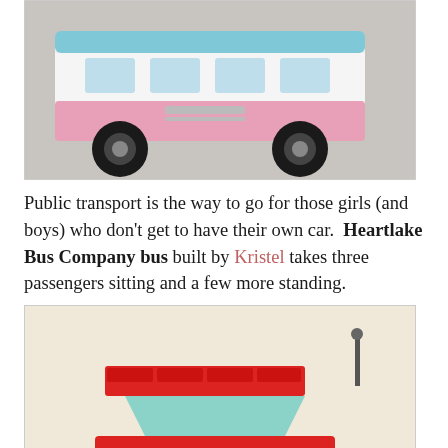[Figure (photo): LEGO Heartlake Bus Company bus model in pink, white and blue colors, photographed on gray background, image cropped showing lower portion of bus]
Public transport is the way to go for those girls (and boys) who don't get to have their own car.  Heartlake Bus Company bus built by Kristel takes three passengers sitting and a few more standing.
[Figure (photo): LEGO Smart Car model built in red with teal windshield, black wheels and orange hubcaps, with a LEGO Friends mini-doll figure (girl with dark hair) standing beside it, on cream/beige background]
A Smart Car is another way 'smart' Friends get where they need to go.  Jane's little car (Jane is 6 years old) created and built by wayneallen's daughter is super efficient for city parking!